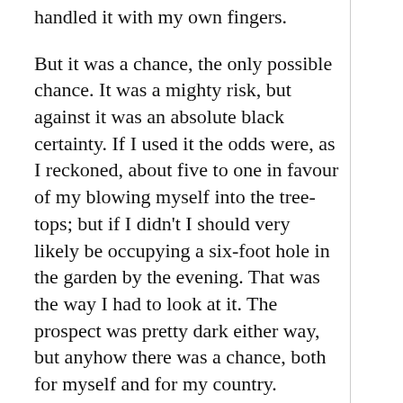handled it with my own fingers.

But it was a chance, the only possible chance. It was a mighty risk, but against it was an absolute black certainty. If I used it the odds were, as I reckoned, about five to one in favour of my blowing myself into the tree-tops; but if I didn't I should very likely be occupying a six-foot hole in the garden by the evening. That was the way I had to look at it. The prospect was pretty dark either way, but anyhow there was a chance, both for myself and for my country.

The remembrance of little
The remembrance of little